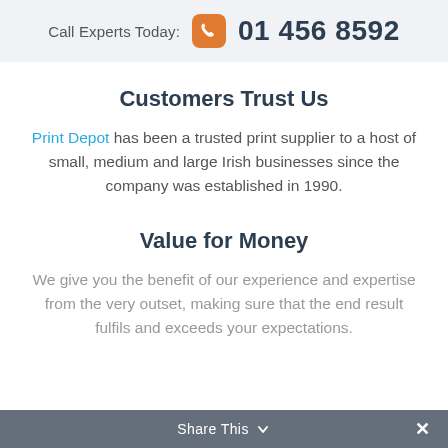Call Experts Today: 01 456 8592
Customers Trust Us
Print Depot has been a trusted print supplier to a host of small, medium and large Irish businesses since the company was established in 1990.
Value for Money
We give you the benefit of our experience and expertise from the very outset, making sure that the end result fulfils and exceeds your expectations.
Share This